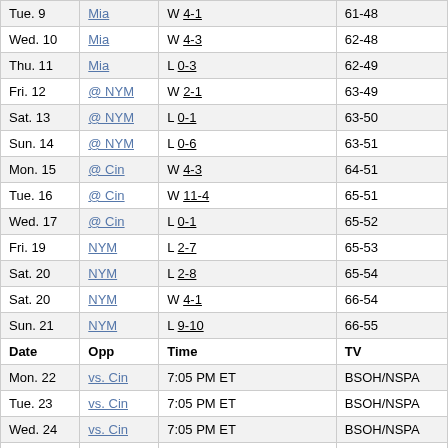| Date | Opp | Time/Result | TV/Record |
| --- | --- | --- | --- |
| Tue. 9 | Mia | W 4-1 | 61-48 |
| Wed. 10 | Mia | W 4-3 | 62-48 |
| Thu. 11 | Mia | L 0-3 | 62-49 |
| Fri. 12 | @ NYM | W 2-1 | 63-49 |
| Sat. 13 | @ NYM | L 0-1 | 63-50 |
| Sun. 14 | @ NYM | L 0-6 | 63-51 |
| Mon. 15 | @ Cin | W 4-3 | 64-51 |
| Tue. 16 | @ Cin | W 11-4 | 65-51 |
| Wed. 17 | @ Cin | L 0-1 | 65-52 |
| Fri. 19 | NYM | L 2-7 | 65-53 |
| Sat. 20 | NYM | L 2-8 | 65-54 |
| Sat. 20 | NYM | W 4-1 | 66-54 |
| Sun. 21 | NYM | L 9-10 | 66-55 |
| Date | Opp | Time | TV |
| Mon. 22 | vs. Cin | 7:05 PM ET | BSOH/NSPA |
| Tue. 23 | vs. Cin | 7:05 PM ET | BSOH/NSPA |
| Wed. 24 | vs. Cin | 7:05 PM ET | BSOH/NSPA |
| Thu. 25 | vs. Cin | 7:05 PM ET | BSOH/NSPA |